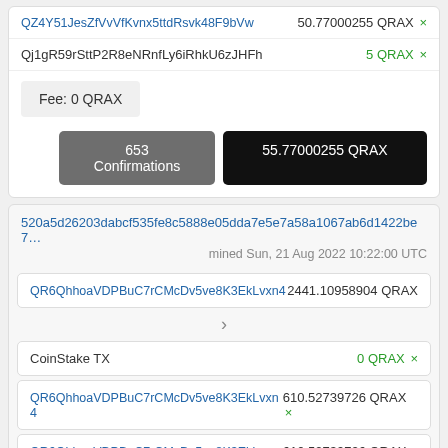QZ4Y51JesZfVvVfKvnx5ttdRsvk48F9bVw   50.77000255 QRAX ×
Qj1gR59rSttP2R8eNRnfLy6iRhkU6zJHFh   5 QRAX ×
Fee: 0 QRAX
653 Confirmations
55.77000255 QRAX
520a5d26203dabcf535fe8c5888e05dda7e5e7a58a1067ab6d1422be7…
mined Sun, 21 Aug 2022 10:22:00 UTC
QR6QhhoaVDPBuC7rCMcDv5ve8K3EkLvxn4   2441.10958904 QRAX
CoinStake TX   0 QRAX ×
QR6QhhoaVDPBuC7rCMcDv5ve8K3EkLvxn4   610.52739726 QRAX ×
QR6QhhoaVDPBuC7rCMcDv5ve8K3EkLvxn4   610.52739726 QRAX ×
QR6QhhoaVDPBuC7rCMcDv5ve8K3EkLvxn4   610.52739726 QRAX ×